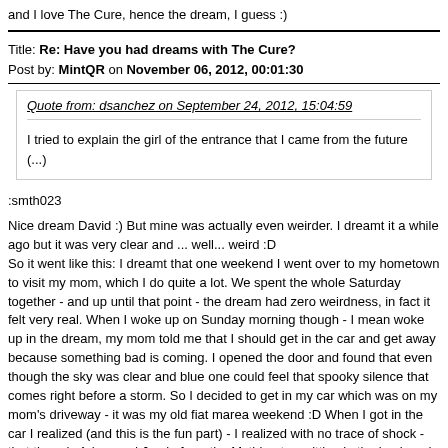and I love The Cure, hence the dream, I guess :)
Title: Re: Have you had dreams with The Cure?
Post by: MintQR on November 06, 2012, 00:01:30
Quote from: dsanchez on September 24, 2012, 15:04:59

I tried to explain the girl of the entrance that I came from the future (...)
:smth023

Nice dream David :) But mine was actually even weirder. I dreamt it a while ago but it was very clear and ... well... weird :D
So it went like this: I dreamt that one weekend I went over to my hometown to visit my mom, which I do quite a lot. We spent the whole Saturday together - and up until that point - the dream had zero weirdness, in fact it felt very real. When I woke up on Sunday morning though - I mean woke up in the dream, my mom told me that I should get in the car and get away because something bad is coming. I opened the door and found that even though the sky was clear and blue one could feel that spooky silence that comes right before a storm. So I decided to get in my car which was on my mom's driveway - it was my old fiat marea weekend :D When I got in the car I realized (and this is the fun part) - I realized with no trace of shock - that there is Adam and Jamie from the Mythbusters sitting in the back and Robert Smith is sitting next to me, yelling at me to start the engine because he was afraid of flying sheep from the sky...